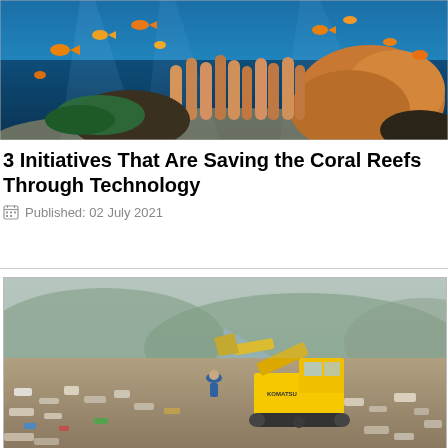[Figure (photo): Underwater coral reef scene with tropical fish swimming above coral formations in clear blue ocean water]
3 Initiatives That Are Saving the Coral Reefs Through Technology
Published: 02 July 2021
[Figure (photo): Aerial view of large landfill/garbage dump site with a yellow Komatsu excavator and workers amid piles of trash, with a river and green hills in the background]